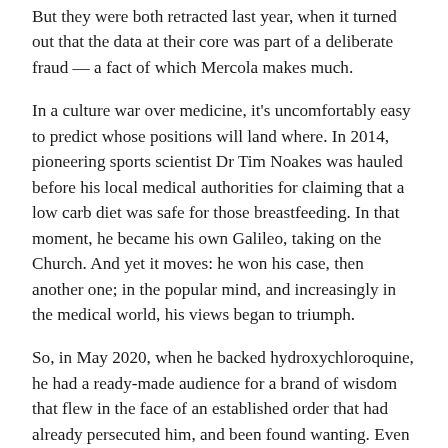But they were both retracted last year, when it turned out that the data at their core was part of a deliberate fraud — a fact of which Mercola makes much.
In a culture war over medicine, it's uncomfortably easy to predict whose positions will land where. In 2014, pioneering sports scientist Dr Tim Noakes was hauled before his local medical authorities for claiming that a low carb diet was safe for those breastfeeding. In that moment, he became his own Galileo, taking on the Church. And yet it moves: he won his case, then another one; in the popular mind, and increasingly in the medical world, his views began to triumph.
So, in May 2020, when he backed hydroxychloroquine, he had a ready-made audience for a brand of wisdom that flew in the face of an established order that had already persecuted him, and been found wanting. Even